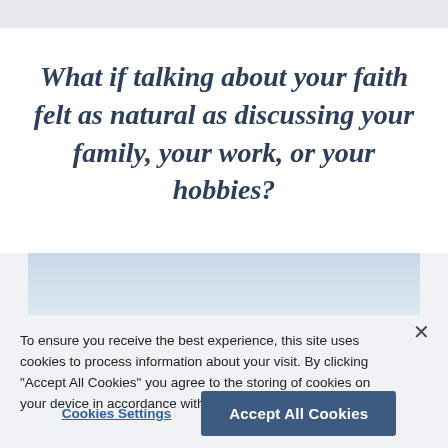What if talking about your faith felt as natural as discussing your family, your work, or your hobbies?
[Figure (other): Light blue gradient rectangular box, partially visible, appears to be a content area or image placeholder]
To ensure you receive the best experience, this site uses cookies to process information about your visit. By clicking "Accept All Cookies" you agree to the storing of cookies on your device in accordance with our Cookie Policy.
Cookies Settings
Accept All Cookies